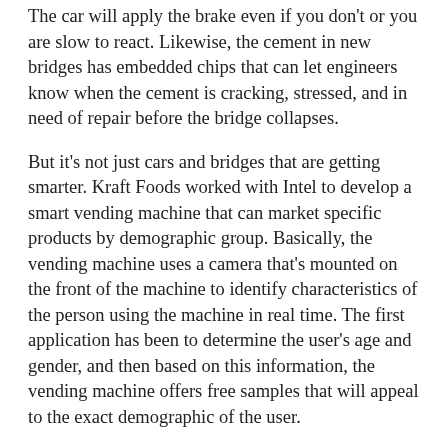The car will apply the brake even if you don't or you are slow to react. Likewise, the cement in new bridges has embedded chips that can let engineers know when the cement is cracking, stressed, and in need of repair before the bridge collapses.
But it's not just cars and bridges that are getting smarter. Kraft Foods worked with Intel to develop a smart vending machine that can market specific products by demographic group. Basically, the vending machine uses a camera that's mounted on the front of the machine to identify characteristics of the person using the machine in real time. The first application has been to determine the user's age and gender, and then based on this information, the vending machine offers free samples that will appeal to the exact demographic of the user.
In other words, you may be at the vending machine purchasing a candy bar or some potato chips. Because the vending machine knows your age and gender, it will give you a specific marketing message along with a code you can use from your smart phone